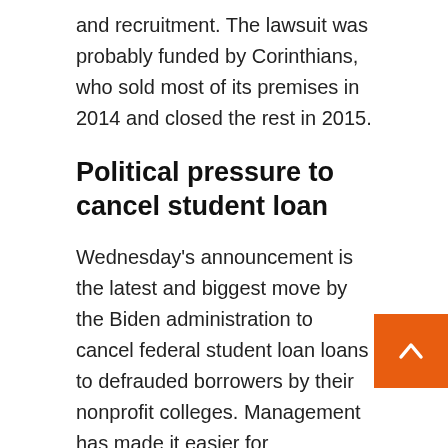and recruitment. The lawsuit was probably funded by Corinthians, who sold most of its premises in 2014 and closed the rest in 2015.
Political pressure to cancel student loan
Wednesday's announcement is the latest and biggest move by the Biden administration to cancel federal student loan loans to defrauded borrowers by their nonprofit colleges. Management has made it easier for permanently disabled borrowers and public sector employees to obtain debt relief.
Related: Biden is considering canceling some student loans. Here's why it's not such a great idea
The new announcement brings the total student loan total approved under the Biden administration since